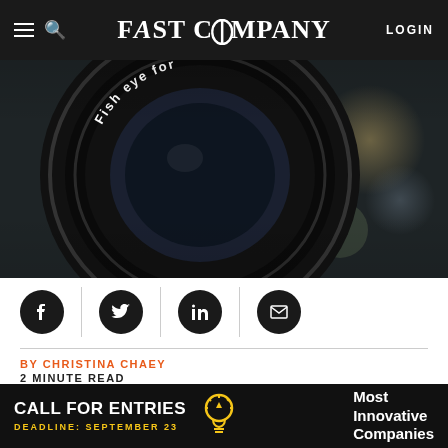FAST COMPANY  LOGIN
[Figure (photo): Close-up photo of a camera fisheye lens with text 'Fish eye for' visible on the lens barrel, dark background with bokeh]
[Figure (infographic): Social share buttons: Facebook, Twitter, LinkedIn, Email icons in black circles separated by vertical dividers]
BY CHRISTINA CHAEY
2 MINUTE READ
Constantly scanning the Internet for the best current prices at dozens of different retailers, our next...
[Figure (infographic): Advertisement banner: CALL FOR ENTRIES - DEADLINE: SEPTEMBER 23 - Most Innovative Companies, light bulb icon]